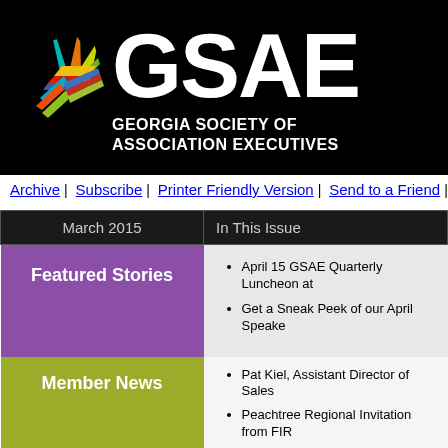[Figure (logo): GSAE - Georgia Society of Association Executives logo with colorful starburst icon on black background]
Archive | Subscribe | Printer Friendly Version | Send to a Friend | Comm
| March 2015 | In This Issue |
| --- | --- |
| Featured Stories | April 15 GSAE Quarterly Luncheon at
Get a Sneak Peek of our April Speake |
| Member News | Pat Kiel, Assistant Director of Sales
Peachtree Regional Invitation from FIR
Sonesta Gwinnett Place Atlanta Wins
Mark Spadoni Named Starwood Hotel
Centennial Olympic Park Shines Brigh |